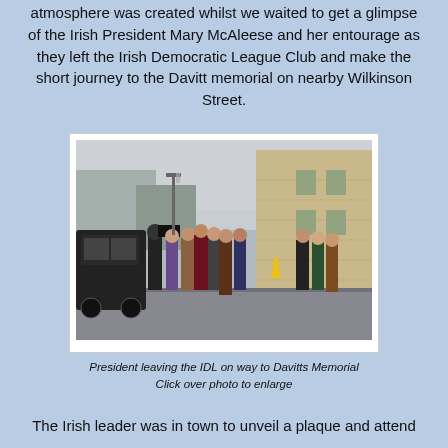atmosphere was created whilst we waited to get a glimpse of the Irish President Mary McAleese and her entourage as they left the Irish Democratic League Club and make the short journey to the Davitt memorial on nearby Wilkinson Street.
[Figure (photo): Group of people walking along a street past a stone building, with a TV cameraman filming them. A dark SUV is parked on the left. Overcast sky.]
President leaving the IDL on way to Davitts Memorial
Click over photo to enlarge
The Irish leader was in town to unveil a plaque and attend